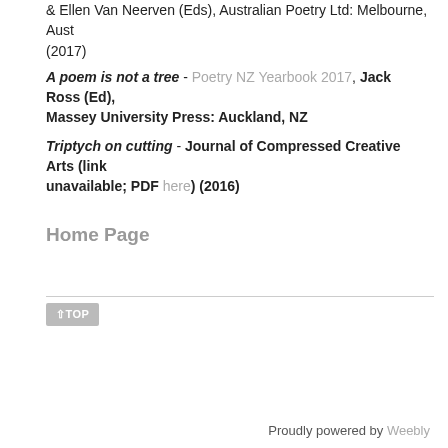& Ellen Van Neerven (Eds), Australian Poetry Ltd: Melbourne, Aust (2017)
A poem is not a tree - Poetry NZ Yearbook 2017, Jack Ross (Ed), Massey University Press: Auckland, NZ
Triptych on cutting - Journal of Compressed Creative Arts (link unavailable; PDF here) (2016)
Home Page
Proudly powered by Weebly